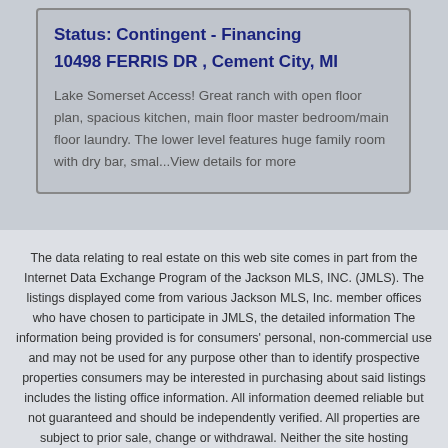Status: Contingent - Financing
10498 FERRIS DR , Cement City, MI
Lake Somerset Access! Great ranch with open floor plan, spacious kitchen, main floor master bedroom/main floor laundry. The lower level features huge family room with dry bar, smal...View details for more
The data relating to real estate on this web site comes in part from the Internet Data Exchange Program of the Jackson MLS, INC. (JMLS). The listings displayed come from various Jackson MLS, Inc. member offices who have chosen to participate in JMLS, the detailed information The information being provided is for consumers' personal, non-commercial use and may not be used for any purpose other than to identify prospective properties consumers may be interested in purchasing about said listings includes the listing office information. All information deemed reliable but not guaranteed and should be independently verified. All properties are subject to prior sale, change or withdrawal. Neither the site hosting broker(s), nor the listing broker or Jackson MLS, Inc. or Carrie's Creations shall be responsible for any typographical errors, misinformation, misprints, and shall be held totally harmless. Jackson MLS, Inc.All rights reserved.